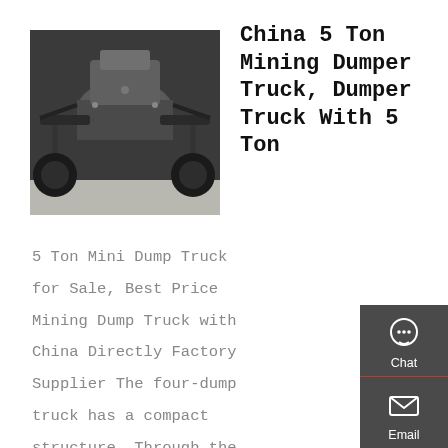[Figure (photo): Underside view of a mining dumper truck, showing chassis, axles and tires from below]
China 5 Ton Mining Dumper Truck, Dumper Truck With 5 Ton
5 Ton Mini Dump Truck for Sale, Best Price Mining Dump Truck with China Directly Factory Supplier The four-dump truck has a compact structure. Through the design of the cab (front part), suspension, frame, cargo
[Figure (infographic): Right-side floating action bar with Chat, Email, Contact, and Top navigation icons on dark gray background]